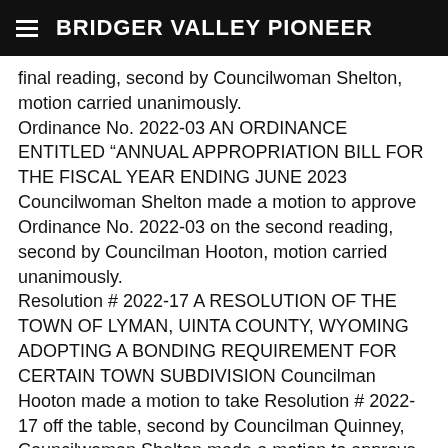BRIDGER VALLEY PIONEER
final reading, second by Councilwoman Shelton, motion carried unanimously. Ordinance No. 2022-03 AN ORDINANCE ENTITLED “ANNUAL APPROPRIATION BILL FOR THE FISCAL YEAR ENDING JUNE 2023 Councilwoman Shelton made a motion to approve Ordinance No. 2022-03 on the second reading, second by Councilman Hooton, motion carried unanimously. Resolution # 2022-17 A RESOLUTION OF THE TOWN OF LYMAN, UINTA COUNTY, WYOMING ADOPTING A BONDING REQUIREMENT FOR CERTAIN TOWN SUBDIVISION Councilman Hooton made a motion to take Resolution # 2022-17 off the table, second by Councilman Quinney, Councilwoman Shelton made a motion to approve Resolution # 2022-17, second by Councilman Hooton, motion carried unanimously.